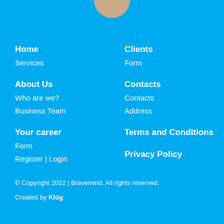[Figure (illustration): Circular avatar/profile icon in beige/tan color, cropped at top of page]
Home
Services
Clients
Form
About Us
Who are we?
Business Team
Contacts
Contacts
Address
Your career
Form
Register | Login
Terms and Conditions
Privacy Policy
© Copyright 2022 | Bravemind. All rights reserved.
Created by Klüg